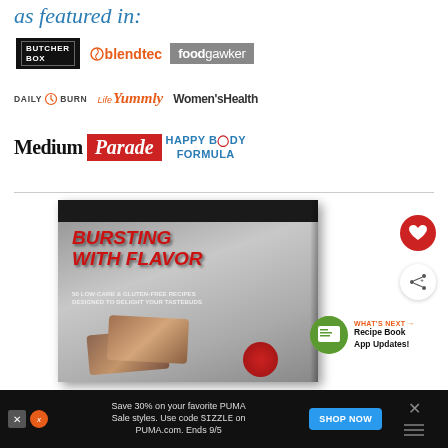as featured in:
[Figure (logo): Row of media/brand logos: Butcher Box, Blendtec, Foodgawker]
[Figure (logo): Row of media/brand logos: Daily Burn, Life Yummly, Women's Health]
[Figure (logo): Row of media/brand logos: Medium, Parade, Happy Body Formula]
[Figure (photo): Book cover: Bursting With Flavor - 50 Low-Carb & Gluten-Free Recipes Designed to Delight Your Tastebuds]
[Figure (other): Heart (save) button - red circle with white heart icon]
[Figure (other): Share button - white circle with share icon]
WHAT'S NEXT → Recipe Book App Updates!
Save 30% on your favorite PUMA Sale styles. Use code SIZZLE on PUMA.com. Ends 9/5
SHOP NOW